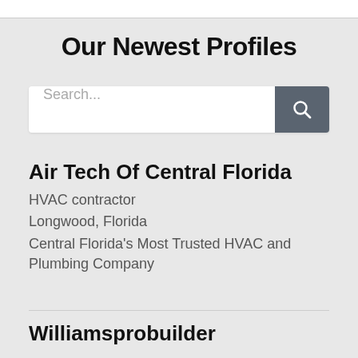Our Newest Profiles
[Figure (screenshot): Search bar with text input field showing placeholder 'Search...' and a dark grey search button with magnifying glass icon]
Air Tech Of Central Florida
HVAC contractor
Longwood, Florida
Central Florida's Most Trusted HVAC and Plumbing Company
Williamsprobuilder